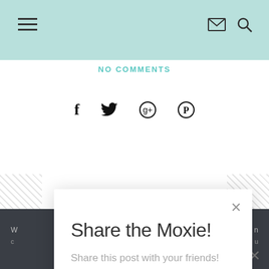Navigation bar with hamburger menu, email icon, search icon
NO COMMENTS
[Figure (infographic): Social sharing icons row: Facebook (f), Twitter bird, Google+ circle, Pinterest (P)]
Share the Moxie!
Share this post with your friends!
[Figure (infographic): Four teal circular social share buttons: Facebook, Twitter, Pinterest, LinkedIn]
Dark footer band with text snippets and close (x) button